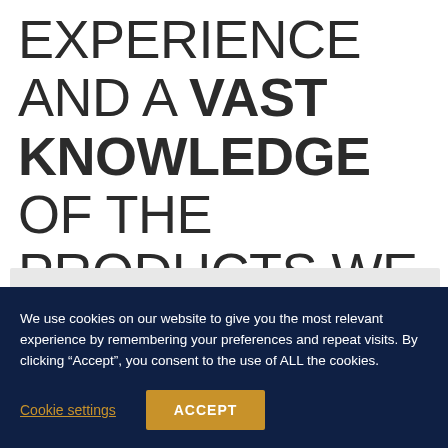EXPERIENCE AND A VAST KNOWLEDGE OF THE PRODUCTS WE PROVIDE.
We use cookies on our website to give you the most relevant experience by remembering your preferences and repeat visits. By clicking “Accept”, you consent to the use of ALL the cookies.
Cookie settings
ACCEPT